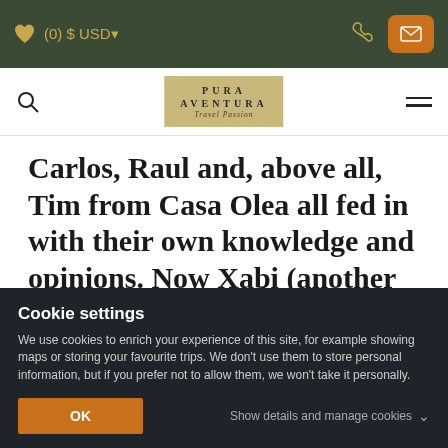(0) $ USD
[Figure (logo): Pura Aventura Travel Passion logo on gold/tan background]
Carlos, Raul and, above all, Tim from Casa Olea all fed in with their own knowledge and opinions. Now Xabi (another Pura co-founder) and I were about to walk it.
Cookie settings
We use cookies to enrich your experience of this site, for example showing maps or storing your favourite trips. We don't use them to store personal information, but if you prefer not to allow them, we won't take it personally.
OK
Show details and manage cookies